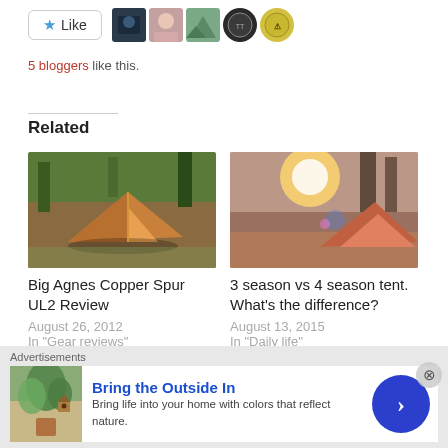[Figure (other): Like button with star icon and 5 avatar images of bloggers]
5 bloggers like this.
Related
[Figure (photo): Big Agnes Copper Spur UL2 tent photo - orange tent in forest]
Big Agnes Copper Spur UL2 Review
August 26, 2012
In "Gear reviews"
[Figure (photo): 3 season vs 4 season tent photo - orange/red tent with sunburst]
3 season vs 4 season tent. What's the difference?
August 13, 2015
In "Daily life"
[Figure (screenshot): Partially visible third related article image]
Advertisements
[Figure (photo): Ad: Bring the Outside In - plant/nature themed advertisement]
Bring the Outside In
Bring life into your home with colors that reflect nature.